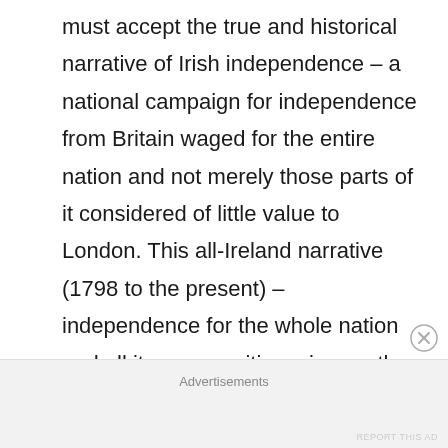must accept the true and historical narrative of Irish independence – a national campaign for independence from Britain waged for the entire nation and not merely those parts of it considered of little value to London. This all-Ireland narrative (1798 to the present) – independence for the whole nation and all its communities – is exactly analogous to the current narrative of the Scottish and Welsh independence movements – movements that Great Britain is working overtime to Ulsterise.
Advertisements